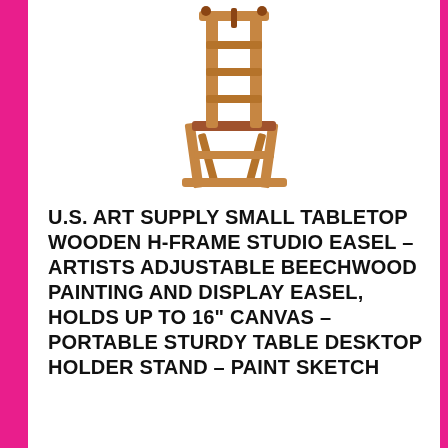[Figure (photo): A small wooden H-frame tabletop studio easel made of beechwood, shown on a white background. The easel has a vertical support with crossbars and a ledge to hold a canvas.]
U.S. ART SUPPLY SMALL TABLETOP WOODEN H-FRAME STUDIO EASEL – ARTISTS ADJUSTABLE BEECHWOOD PAINTING AND DISPLAY EASEL, HOLDS UP TO 16" CANVAS – PORTABLE STURDY TABLE DESKTOP HOLDER STAND – PAINT SKETCH